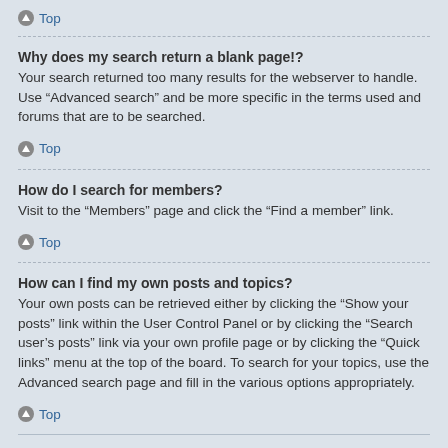Top
Why does my search return a blank page!?
Your search returned too many results for the webserver to handle. Use “Advanced search” and be more specific in the terms used and forums that are to be searched.
Top
How do I search for members?
Visit to the “Members” page and click the “Find a member” link.
Top
How can I find my own posts and topics?
Your own posts can be retrieved either by clicking the “Show your posts” link within the User Control Panel or by clicking the “Search user’s posts” link via your own profile page or by clicking the “Quick links” menu at the top of the board. To search for your topics, use the Advanced search page and fill in the various options appropriately.
Top
Subscriptions and Bookmarks
What is the difference between bookmarking and subscribing?